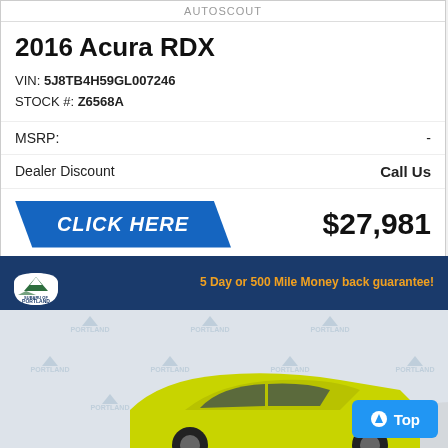2016 Acura RDX
VIN: 5J8TB4H59GL007246
STOCK #: Z6568A
MSRP: -
Dealer Discount  Call Us
CLICK HERE  $27,981
[Figure (photo): Yellow hatchback car (Scion) at Subaru of Portland dealership with branded backdrop showing mountain logo. Blue banner at top with Subaru of Portland logo and '5 Day or 500 Mile Money back guarantee!' text in orange. Bottom right shows a blue 'Top' button with up arrow.]